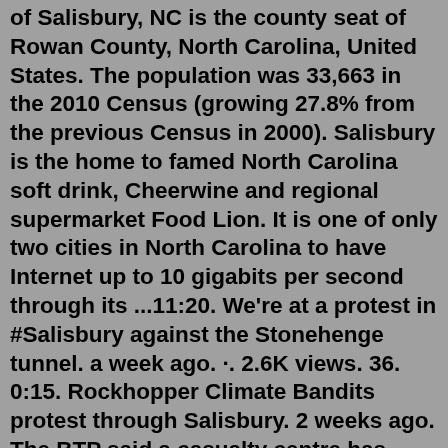of Salisbury, NC is the county seat of Rowan County, North Carolina, United States. The population was 33,663 in the 2010 Census (growing 27.8% from the previous Census in 2000). Salisbury is the home to famed North Carolina soft drink, Cheerwine and regional supermarket Food Lion. It is one of only two cities in North Carolina to have Internet up to 10 gigabits per second through its ...11:20. We're at a protest in #Salisbury against the Stonehenge tunnel. a week ago. ·. 2.6K views. 36. 0:15. Rockhopper Climate Bandits protest through Salisbury. 2 weeks ago. The BTP said a casualty centre has been set up at St Mark's Church in Salisbury. Train services in the area have been halted. Dimitri Popa, 17, was on the first train carriage travelling from ...Salisbury. Friday 15 July 2022 20:02. The Daily Court Status can be seen here everyday from 10:00 am. When events occur in Court this page will be updated. To view the Daily Court Status of other Crown Court Centres that have XHIBIT return to the Court List. Court